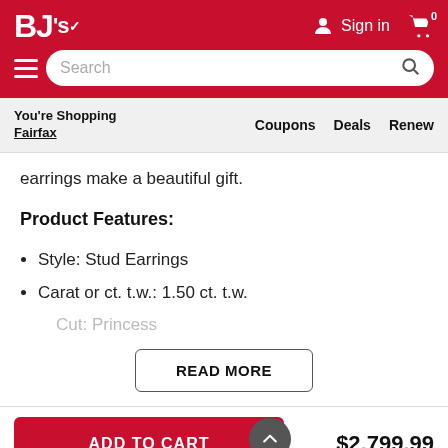BJ's — Sign in — Cart 0 — Search
You're Shopping Fairfax   Coupons   Deals   Renew
earrings make a beautiful gift.
Product Features:
Style: Stud Earrings
Carat or ct. t.w.: 1.50 ct. t.w.
Cut: Princess
READ MORE
ADD TO CART
$2,799.99